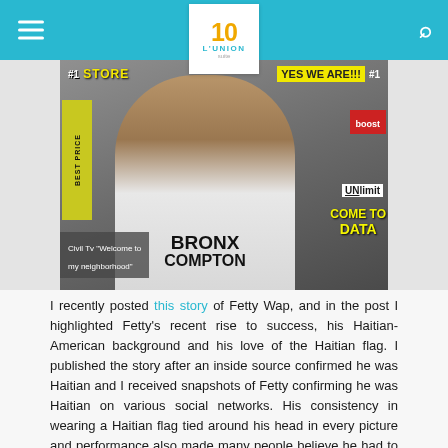L'UNION Suite (10th anniversary logo)
[Figure (photo): A person with curly hair wearing a white t-shirt with 'BRONX COMPTON' written on it, standing in front of a store with signs reading '#1 STORE', 'YES WE ARE!!!', 'BEST PRICE', 'boost', 'UNlimit', 'COME TO DATA'. Caption overlay reads: Civil Tv "Welcome to my neighborhood"]
I recently posted this story of Fetty Wap, and in the post I highlighted Fetty's recent rise to success, his Haitian-American background and his love of the Haitian flag. I published the story after an inside source confirmed he was Haitian and I received snapshots of Fetty confirming he was Haitian on various social networks. His consistency in wearing a Haitian flag tied around his head in every picture and performance also made many people believe he had to be Haitian.